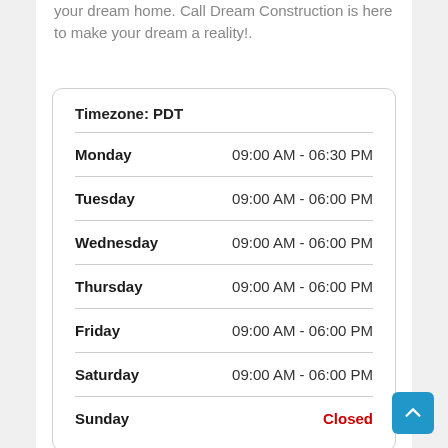your dream home. Call Dream Construction is here to make your dream a reality!.
| Day | Hours |
| --- | --- |
| Timezone: PDT |  |
| Monday | 09:00 AM - 06:30 PM |
| Tuesday | 09:00 AM - 06:00 PM |
| Wednesday | 09:00 AM - 06:00 PM |
| Thursday | 09:00 AM - 06:00 PM |
| Friday | 09:00 AM - 06:00 PM |
| Saturday | 09:00 AM - 06:00 PM |
| Sunday | Closed |